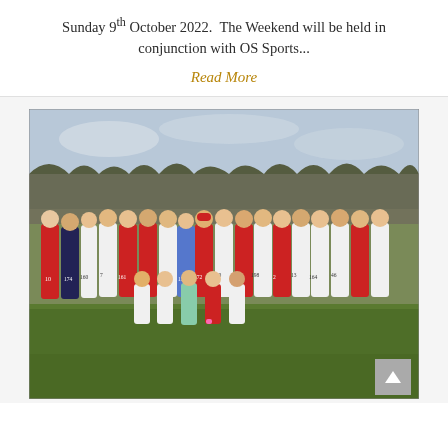Sunday 9th October 2022.  The Weekend will be held in conjunction with OS Sports...
Read More
[Figure (photo): Group photo of cross-country runners wearing race numbers on a grass field, with bare trees in the background. Runners are wearing white and dark athletic vests with race bibs. Several athletes crouch in the front row.]